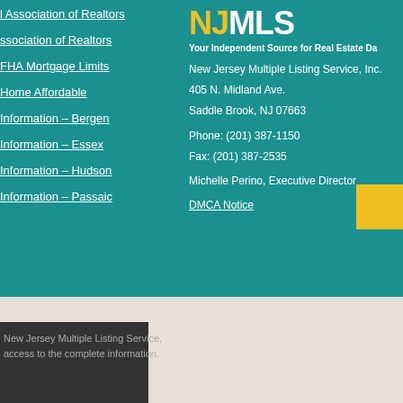l Association of Realtors
ssociation of Realtors
FHA Mortgage Limits
Home Affordable
Information – Bergen
Information – Essex
Information – Hudson
Information – Passaic
[Figure (logo): NJMLS logo with yellow NJ and white MLS text]
Your Independent Source for Real Estate Da
New Jersey Multiple Listing Service, Inc.
405 N. Midland Ave.
Saddle Brook, NJ 07663

Phone: (201) 387-1150
Fax: (201) 387-2535

Michelle Perino, Executive Director
DMCA Notice
New Jersey Multiple Listing Service, access to the complete information.